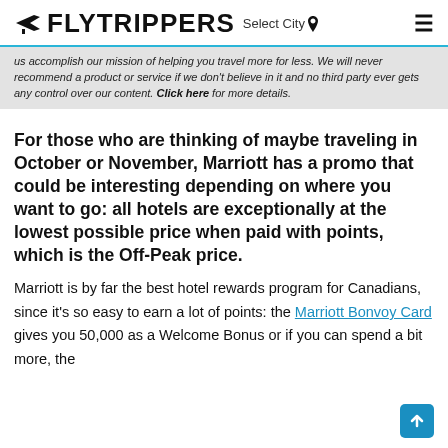FLYTRIPPERS Select City
us accomplish our mission of helping you travel more for less. We will never recommend a product or service if we don't believe in it and no third party ever gets any control over our content. Click here for more details.
For those who are thinking of maybe traveling in October or November, Marriott has a promo that could be interesting depending on where you want to go: all hotels are exceptionally at the lowest possible price when paid with points, which is the Off-Peak price.
Marriott is by far the best hotel rewards program for Canadians, since it's so easy to earn a lot of points: the Marriott Bonvoy Card gives you 50,000 as a Welcome Bonus or if you can spend a bit more, the